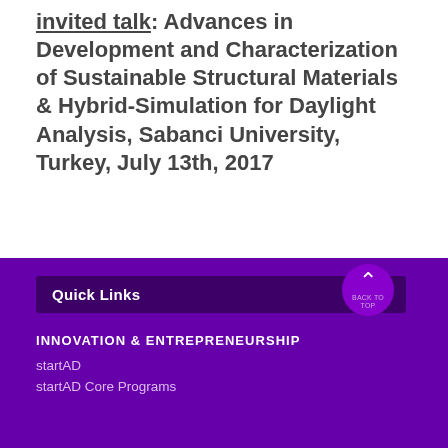invited talk: Advances in Development and Characterization of Sustainable Structural Materials & Hybrid-Simulation for Daylight Analysis, Sabanci University, Turkey, July 13th, 2017
Quick Links | INNOVATION & ENTREPRENEURSHIP | startAD | startAD Core Programs | BACK TO TOP